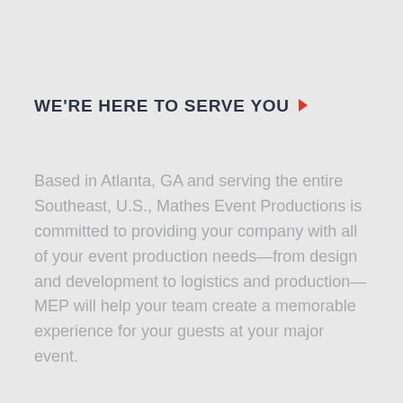WE'RE HERE TO SERVE YOU
Based in Atlanta, GA and serving the entire Southeast, U.S., Mathes Event Productions is committed to providing your company with all of your event production needs—from design and development to logistics and production—MEP will help your team create a memorable experience for your guests at your major event.